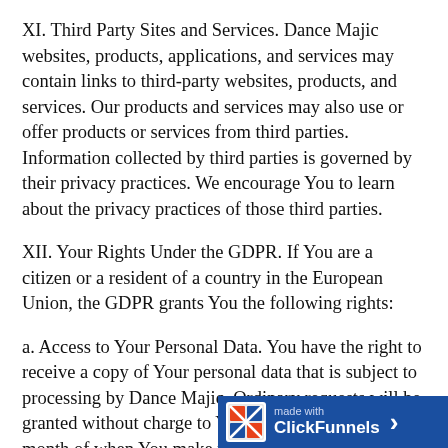XI. Third Party Sites and Services. Dance Majic websites, products, applications, and services may contain links to third-party websites, products, and services. Our products and services may also use or offer products or services from third parties. Information collected by third parties is governed by their privacy practices. We encourage You to learn about the privacy practices of those third parties.
XII. Your Rights Under the GDPR. If You are a citizen or a resident of a country in the European Union, the GDPR grants You the following rights:
a. Access to Your Personal Data. You have the right to receive a copy of Your personal data that is subject to processing by Dance Majic. Ordinary requests will be granted without charge to You within one calendar month of when You make the request. In cases of excessive, unreasonable, or repeate[d requests, Dance Majic may charge You a reasonable] ...
[Figure (logo): ClickFunnels 'made with' branding bar at bottom right, dark blue background with ClickFunnels logo icon and text, and a right-arrow chevron.]